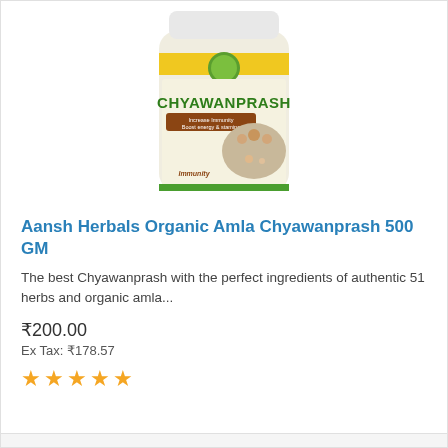[Figure (photo): Product photo of Aansh Herbals Organic Amla Chyawanprash 500 GM jar, white jar with yellow and green label, showing brand name CHYAWANPRASH in large green letters, with family image on label]
Aansh Herbals Organic Amla Chyawanprash 500 GM
The best Chyawanprash with the perfect ingredients of authentic 51 herbs and organic amla...
₹200.00
Ex Tax: ₹178.57